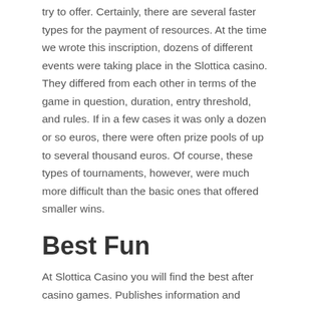try to offer. Certainly, there are several faster types for the payment of resources. At the time we wrote this inscription, dozens of different events were taking place in the Slottica casino. They differed from each other in terms of the game in question, duration, entry threshold, and rules. If in a few cases it was only a dozen or so euros, there were often prize pools of up to several thousand euros. Of course, these types of tournaments, however, were much more difficult than the basic ones that offered smaller wins.
Best Fun
At Slottica Casino you will find the best after casino games. Publishes information and